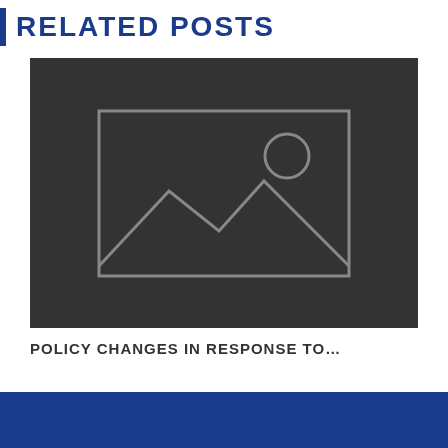RELATED POSTS
[Figure (photo): Image placeholder with mountain/landscape icon on dark background]
POLICY CHANGES IN RESPONSE TO…